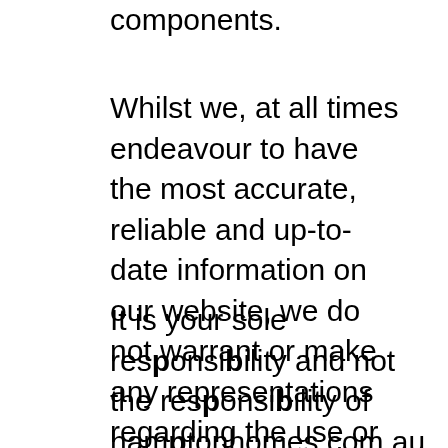components.
Whilst we, at all times endeavour to have the most accurate, reliable and up-to-date information on our website, we do not warrant or make any representations regarding the use or the result of the use of any document, product, service, link or information in its website or as to their correctness, suitability, accuracy, reliability, or otherwise.
It is your sole responsibility and not the responsibility of hamptonhomes.com.au to bear any and all costs of servicing, repairs, or correction. The applicable law in your state or territory may not permit these